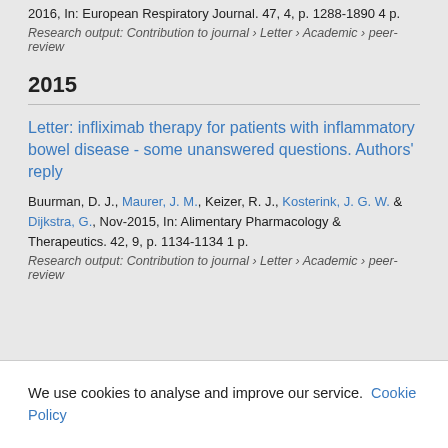2016, In: European Respiratory Journal. 47, 4, p. 1288-1890 4 p.
Research output: Contribution to journal › Letter › Academic › peer-review
2015
Letter: infliximab therapy for patients with inflammatory bowel disease - some unanswered questions. Authors' reply
Buurman, D. J., Maurer, J. M., Keizer, R. J., Kosterink, J. G. W. & Dijkstra, G., Nov-2015, In: Alimentary Pharmacology & Therapeutics. 42, 9, p. 1134-1134 1 p.
Research output: Contribution to journal › Letter › Academic › peer-review
We use cookies to analyse and improve our service. Cookie Policy